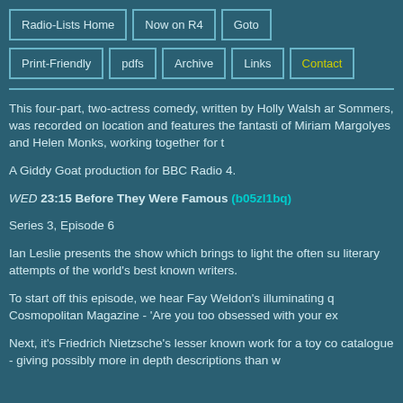Radio-Lists Home | Now on R4 | Goto | Print-Friendly | pdfs | Archive | Links | Contact
This four-part, two-actress comedy, written by Holly Walsh and Sommers, was recorded on location and features the fantastic of Miriam Margolyes and Helen Monks, working together for t
A Giddy Goat production for BBC Radio 4.
WED 23:15 Before They Were Famous (b05zl1bq) Series 3, Episode 6
Ian Leslie presents the show which brings to light the often su literary attempts of the world's best known writers.
To start off this episode, we hear Fay Weldon's illuminating q Cosmopolitan Magazine - 'Are you too obsessed with your ex
Next, it's Friedrich Nietzsche's lesser known work for a toy co catalogue - giving possibly more in depth descriptions than w